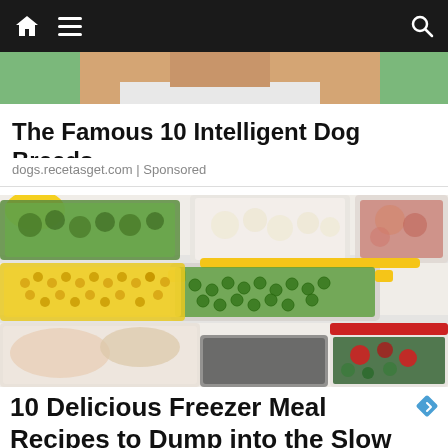Navigation bar with home, menu, and search icons
[Figure (photo): Partial image of a person's upper body/face at top of page, cropped]
The Famous 10 Intelligent Dog Breeds
dogs.recetasget.com | Sponsored
[Figure (photo): Freezer meal prep photo showing plastic containers and bags filled with frozen vegetables (corn, green beans, broccoli, cauliflower), meat, and other foods arranged on refrigerator shelves]
10 Delicious Freezer Meal Recipes to Dump into the Slow Cooker – Happy Pumpkin